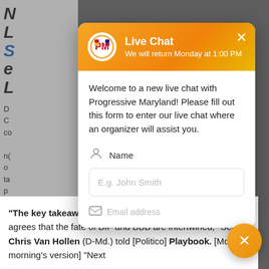[Figure (screenshot): Live chat modal popup from Progressive Maryland organization. Orange gradient header with logo, showing 'Live Chat' title and 'We will return Monday at 1:00 PM' subtitle. Below is a welcome form with Name field and partially visible Email field. Background shows partial webpage text. Bottom of page shows news snippet about President Biden, BIF and BBB, quoting Sen. Chris Van Hollen. Orange close/chat FAB button in bottom right.]